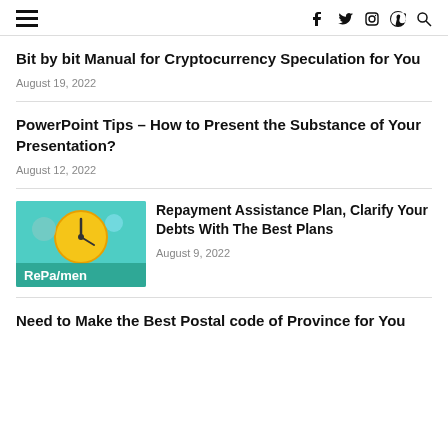≡  f  twitter  instagram  pinterest  search
Bit by bit Manual for Cryptocurrency Speculation for You
August 19, 2022
PowerPoint Tips – How to Present the Substance of Your Presentation?
August 12, 2022
[Figure (photo): Thumbnail image showing a clock with gears and small figures, labeled 'RePa/men' (Repayment)]
Repayment Assistance Plan, Clarify Your Debts With The Best Plans
August 9, 2022
Need to Make the Best Postal code of Province for You